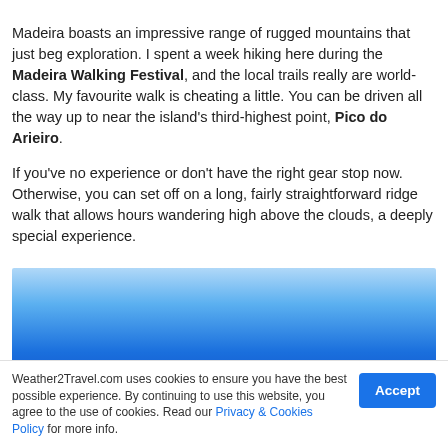Madeira boasts an impressive range of rugged mountains that just beg exploration. I spent a week hiking here during the Madeira Walking Festival, and the local trails really are world-class. My favourite walk is cheating a little. You can be driven all the way up to near the island's third-highest point, Pico do Arieiro.
If you've no experience or don't have the right gear stop now. Otherwise, you can set off on a long, fairly straightforward ridge walk that allows hours wandering high above the clouds, a deeply special experience.
[Figure (photo): Photograph showing a blue sky with clouds, representing mountain scenery in Madeira]
Weather2Travel.com uses cookies to ensure you have the best possible experience. By continuing to use this website, you agree to the use of cookies. Read our Privacy & Cookies Policy for more info.